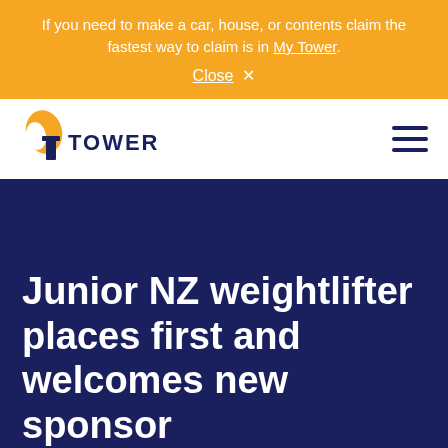If you need to make a car, house, or contents claim the fastest way to claim is in My Tower. Close X
[Figure (logo): Tower Insurance logo — yellow bird/flame icon and dark blue 'TOWER' wordmark]
Junior NZ weightlifter places first and welcomes new sponsor